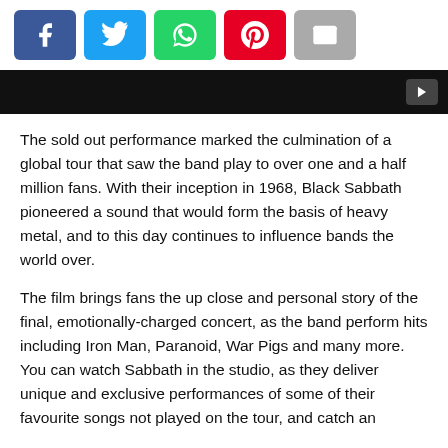[Figure (other): Social sharing buttons row: Facebook (blue), Twitter (cyan), WhatsApp (green), Pinterest (red), Email (grey)]
[Figure (screenshot): Black video player bar with a play button icon in the upper right corner]
The sold out performance marked the culmination of a global tour that saw the band play to over one and a half million fans. With their inception in 1968, Black Sabbath pioneered a sound that would form the basis of heavy metal, and to this day continues to influence bands the world over.
The film brings fans the up close and personal story of the final, emotionally-charged concert, as the band perform hits including Iron Man, Paranoid, War Pigs and many more. You can watch Sabbath in the studio, as they deliver unique and exclusive performances of some of their favourite songs not played on the tour, and catch an